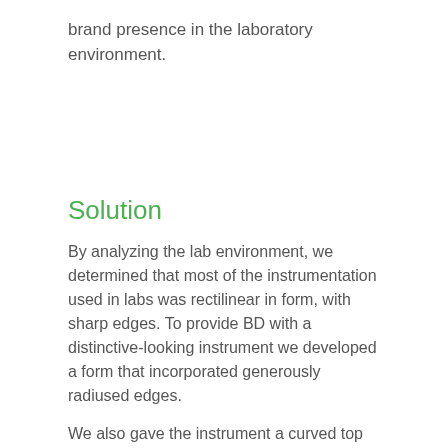brand presence in the laboratory environment.
Solution
By analyzing the lab environment, we determined that most of the instrumentation used in labs was rectilinear in form, with sharp edges. To provide BD with a distinctive-looking instrument we developed a form that incorporated generously radiused edges.
We also gave the instrument a curved top that not only softens the form but also serves to prevent people from placing objects on this sensitive machine. The top of the unit is intended to be fabricated from Corian,